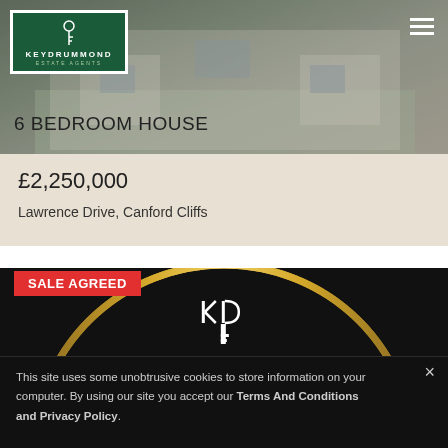[Figure (photo): Exterior photo of a large house with grey siding, visible through the top portion of the page, partially obscured by overlay]
[Figure (logo): Key Drummond Estate Agents logo - white text on dark green background with key icon]
6 BEDROOM HOUSE
£2,250,000
Lawrence Drive, Canford Cliffs
SALE AGREED
[Figure (logo): Key Drummond gold circle logo on black background with KD monogram and EST. 1977 text]
This site uses some unobtrusive cookies to store information on your computer. By using our site you accept our Terms And Conditions and Privacy Policy.
4 BEDROOM HOUSE